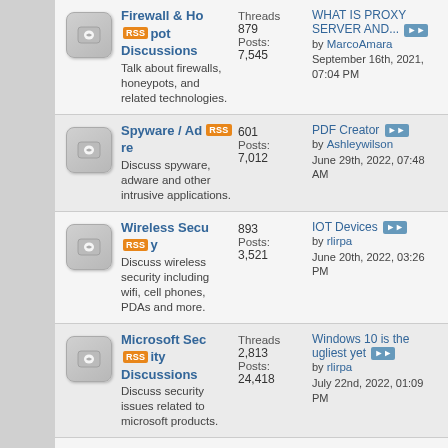Firewall & Honeypot Discussions — Talk about firewalls, honeypots, and related technologies. Threads: 879, Posts: 7,545. Last post: WHAT IS PROXY SERVER AND... by MarcoAmara, September 16th, 2021, 07:04 PM
Spyware / Adware — Discuss spyware, adware and other intrusive applications. Threads: 601, Posts: 7,012. Last post: PDF Creator by Ashleywilson, June 29th, 2022, 07:48 AM
Wireless Security — Discuss wireless security including wifi, cell phones, PDAs and more. Threads: 893, Posts: 3,521. Last post: IOT Devices by rlirpa, June 20th, 2022, 03:26 PM
Microsoft Security Discussions — Discuss security issues related to microsoft products. Threads: 2,813, Posts: 24,418. Last post: Windows 10 is the ugliest yet by rlirpa, July 22nd, 2022, 01:09 PM
*nix Security Discussions — Threads: 1,197. Last post: SELinux and Trusted BSD